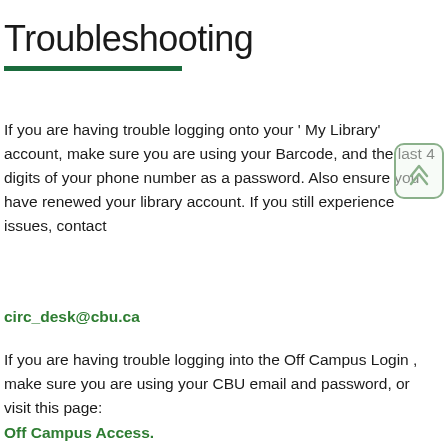Troubleshooting
If you are having trouble logging onto your ' My Library' account, make sure you are using your Barcode, and the last 4 digits of your phone number as a password. Also ensure you have renewed your library account. If you still experience issues, contact
circ_desk@cbu.ca
If you are having trouble logging into the Off Campus Login , make sure you are using your CBU email and password, or visit this page:
Off Campus Access.